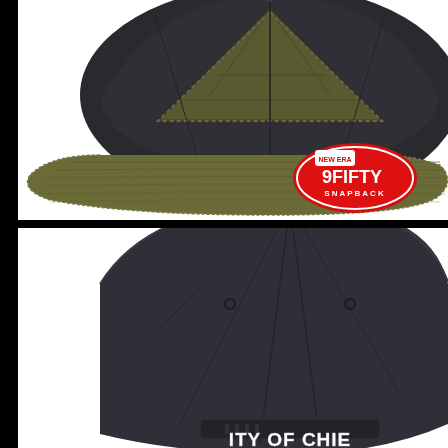[Figure (photo): Close-up front view of a dark navy/charcoal wool snapback cap with an olive/army green triangle quilted patch logo on the front panel and an olive green leather/faux-leather brim. A New Era 9FIFTY Snapback sticker label is visible on the underside of the brim. White background.]
[Figure (photo): Rear view of a dark navy/charcoal wool baseball cap with white embroidered text reading 'ITY OF CHIEFS' (partially visible, likely 'CITY OF CHIEFS') along the bottom back panel. White background.]